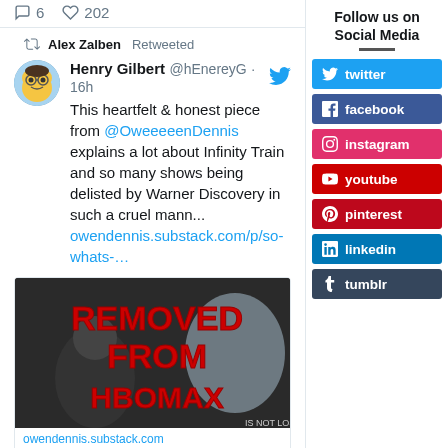6  202
Alex Zalben Retweeted
Henry Gilbert @hEnereyG · 16h
This heartfelt & honest piece from @OweeeeenDennis explains a lot about Infinity Train and so many shows being delisted by Warner Discovery in such a cruel mann... owendennis.substack.com/p/so-whats-…
[Figure (screenshot): Image showing animated characters with large red text 'REMOVED FROM HBOMAX' overlaid]
owendennis.substack.com
So uh... what's going on with Train?
Follow us on Social Media
twitter
facebook
instagram
youtube
pinterest
linkedin
tumblr